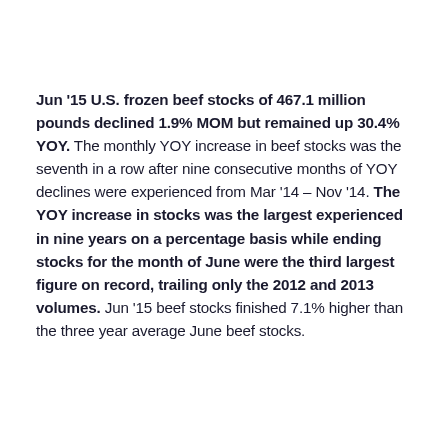Jun '15 U.S. frozen beef stocks of 467.1 million pounds declined 1.9% MOM but remained up 30.4% YOY. The monthly YOY increase in beef stocks was the seventh in a row after nine consecutive months of YOY declines were experienced from Mar '14 – Nov '14. The YOY increase in stocks was the largest experienced in nine years on a percentage basis while ending stocks for the month of June were the third largest figure on record, trailing only the 2012 and 2013 volumes. Jun '15 beef stocks finished 7.1% higher than the three year average June beef stocks.